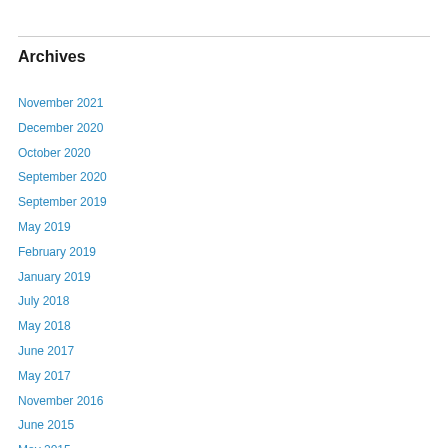Archives
November 2021
December 2020
October 2020
September 2020
September 2019
May 2019
February 2019
January 2019
July 2018
May 2018
June 2017
May 2017
November 2016
June 2015
May 2015
June 2014